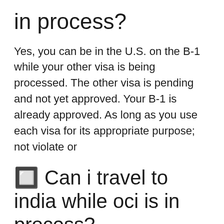in process?
Yes, you can be in the U.S. on the B-1 while your other visa is being processed. The other visa is pending and not yet approved. Your B-1 is already approved. As long as you use each visa for its appropriate purpose; not violate or
🔲 Can i travel to india while oci is in process?
No. As per the latest guidelines, all OCI card holders (with valid reason) holding US Passport are permitted to enter India. You may also refer to https://www.cgisf.gov.in/news_detail/?newsid=81 OCI Card holders do not require Emergency visa to